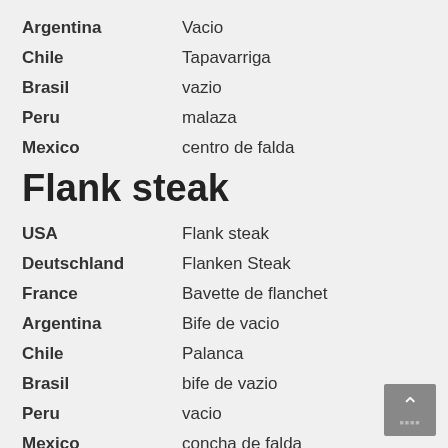Argentina — Vacio
Chile — Tapavarriga
Brasil — vazio
Peru — malaza
Mexico — centro de falda
Flank steak
USA — Flank steak
Deutschland — Flanken Steak
France — Bavette de flanchet
Argentina — Bife de vacio
Chile — Palanca
Brasil — bife de vazio
Peru — vacio
Mexico — concha de falda